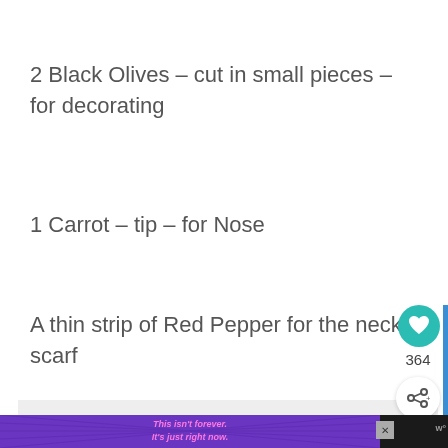2 Black Olives – cut in small pieces – for decorating
1 Carrot – tip – for Nose
A thin strip of Red Pepper for the neck scarf
[Figure (other): Gray placeholder image area at the bottom of the page]
[Figure (infographic): UI overlay with teal heart button showing count 364 and a share button, plus a blue vertical stripe]
[Figure (screenshot): Advertisement banner at bottom: purple/violet background with pink italic text 'This isn't forever. It's just right now.' with a close button and W logo on black bar]